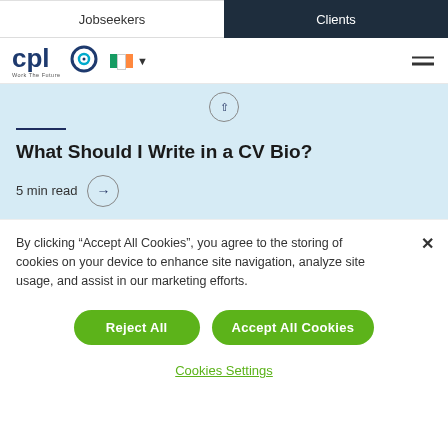Jobseekers | Clients
[Figure (logo): CPL logo with 'Work The Future' tagline, Irish flag with dropdown, hamburger menu icon]
[Figure (screenshot): Light blue article card with dark blue horizontal rule, title 'What Should I Write in a CV Bio?', and '5 min read' with arrow button]
By clicking “Accept All Cookies”, you agree to the storing of cookies on your device to enhance site navigation, analyze site usage, and assist in our marketing efforts.
Reject All
Accept All Cookies
Cookies Settings